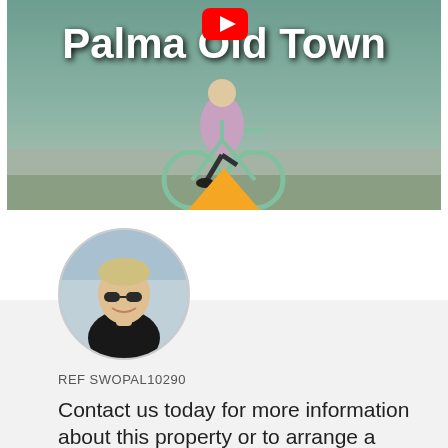[Figure (screenshot): Video thumbnail showing 'Palma Old Town' with a cyclist on a promenade, YouTube play button overlay, and an orange triangle marker at the bottom]
[Figure (photo): Circular profile photo of a blonde woman wearing sunglasses and a dark jacket, smiling]
REF SWOPAL10290
Contact us today for more information about this property or to arrange a viewing.